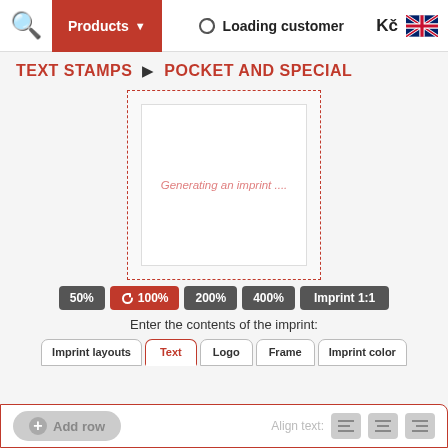Products | Loading customer | Kč
TEXT STAMPS ▶ POCKET AND SPECIAL
[Figure (screenshot): Imprint preview box with dashed red border showing 'Generating an imprint ...' placeholder text]
50% | 100% | 200% | 400% | Imprint 1:1
Enter the contents of the imprint:
Imprint layouts | Text | Logo | Frame | Imprint color
+ Add row    Align text: